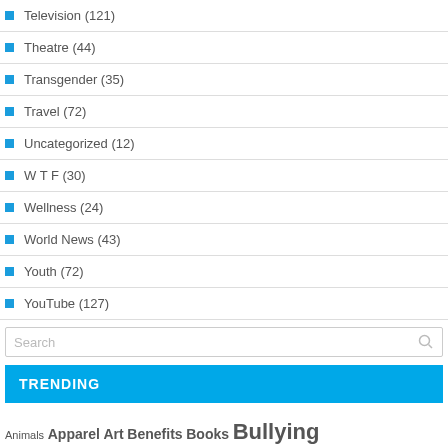Television (121)
Theatre (44)
Transgender (35)
Travel (72)
Uncategorized (12)
W T F (30)
Wellness (24)
World News (43)
Youth (72)
YouTube (127)
Search
TRENDING
Animals Apparel Art Benefits Books Bullying Celebrity Clubs Comedy Dance Drink Eat Events and